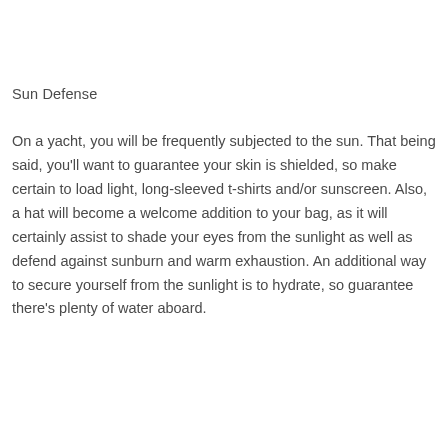Sun Defense
On a yacht, you will be frequently subjected to the sun. That being said, you’ll want to guarantee your skin is shielded, so make certain to load light, long-sleeved t-shirts and/or sunscreen. Also, a hat will become a welcome addition to your bag, as it will certainly assist to shade your eyes from the sunlight as well as defend against sunburn and warm exhaustion. An additional way to secure yourself from the sunlight is to hydrate, so guarantee there’s plenty of water aboard.